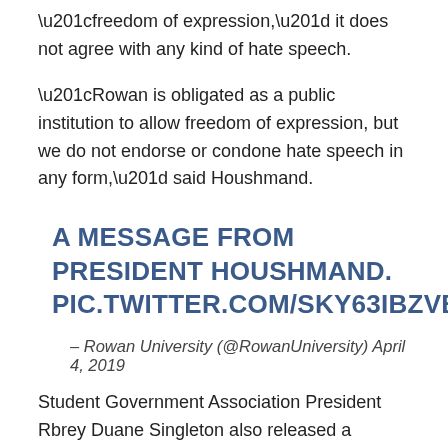“freedom of expression,” it does not agree with any kind of hate speech.
“Rowan is obligated as a public institution to allow freedom of expression, but we do not endorse or condone hate speech in any form,” said Houshmand.
A MESSAGE FROM PRESIDENT HOUSHMAND. PIC.TWITTER.COM/SKY63IBZVB
– Rowan University (@RowanUniversity) April 4, 2019
Student Government Association President Rbrey Duane Singleton also released a statement on social media saying he is proud of Rowan for sending out a message of love